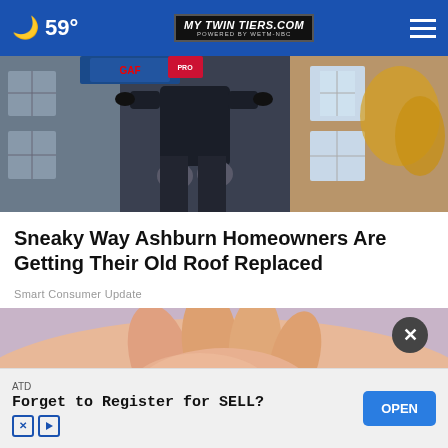59° mytwintiers.com
[Figure (photo): Person working on a roof, wearing knee pads, with shingles and a house exterior visible in the background]
Sneaky Way Ashburn Homeowners Are Getting Their Old Roof Replaced
Smart Consumer Update
[Figure (photo): Close-up of a person scratching their skin/arm, lavender background]
ATD
Forget to Register for SELL?